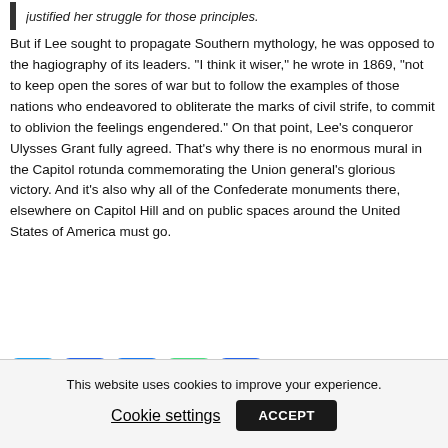justified her struggle for those principles.
But if Lee sought to propagate Southern mythology, he was opposed to the hagiography of its leaders. "I think it wiser," he wrote in 1869, "not to keep open the sores of war but to follow the examples of those nations who endeavored to obliterate the marks of civil strife, to commit to oblivion the feelings engendered."
On that point, Lee's conqueror Ulysses Grant fully agreed. That's why there is no enormous mural in the Capitol rotunda commemorating the Union general's glorious victory. And it's also why all of the Confederate monuments there, elsewhere on Capitol Hill and on public spaces around the United States of America must go.
[Figure (other): Social sharing buttons: Twitter, Email, Facebook, Link, Share]
This website uses cookies to improve your experience.
Cookie settings    ACCEPT